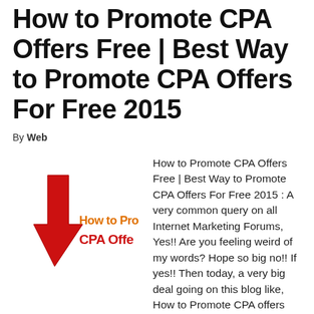How to Promote CPA Offers Free | Best Way to Promote CPA Offers For Free 2015
By Web
[Figure (illustration): Thumbnail image showing a red upward arrow with text 'How to Promote CPA Offers' in orange and red on white background]
How to Promote CPA Offers Free | Best Way to Promote CPA Offers For Free 2015 : A very common query on all Internet Marketing Forums, Yes!! Are you feeling weird of my words? Hope so big no!! If yes!! Then today, a very big deal going on this blog like, How to Promote CPA offers free. However, does anybody advice you like start doing YouTube or there are some Best methods to …